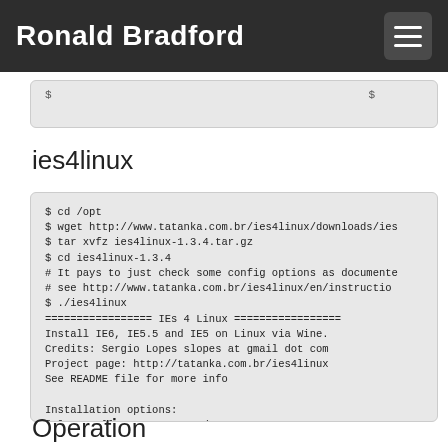Ronald Bradford
$ cd /opt
$ wget http://www.tatanka.com.br/ies4linux/downloads/ies...
$ tar xvfz ies4linux-1.3.4.tar.gz
$ cd ies4linux-1.3.4
# It pays to just check some config options as documented
# see http://www.tatanka.com.br/ies4linux/en/instruction...
$ ./ies4linux
================= IEs 4 Linux =================
Install IE6, IE5.5 and IE5 on Linux via Wine.
Credits: Sergio Lopes slopes at gmail dot com
Project page: http://tatanka.com.br/ies4linux
See README file for more info

Installation options:
[1] Install IE6, IE5.5 and IE5
[2] Install only IE6
[3] Install only IE5.5
[4] Install only IE5.0
Please choose an option: 1
ies4linux
Operation